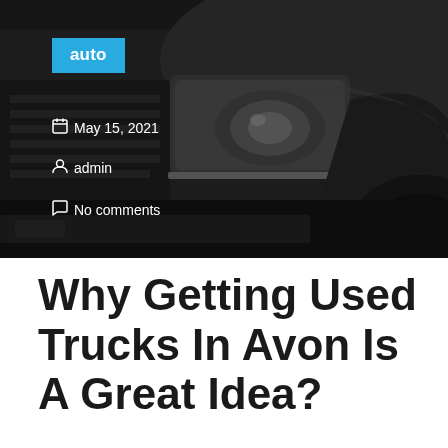[Figure (photo): Close-up grayscale photo of a dark pickup truck front end, showing the grille, headlight, and wheel arch. Overlaid with metadata: 'auto' badge in cyan, date 'May 15, 2021', author 'admin', and 'No comments'.]
Why Getting Used Trucks In Avon Is A Great Idea?